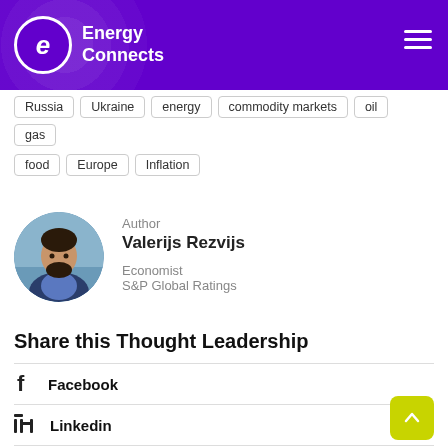Energy Connects
Russia
Ukraine
energy
commodity markets
oil
gas
food
Europe
Inflation
[Figure (photo): Headshot photo of Valerijs Rezvijs, a man with dark beard wearing a blue jacket]
Author
Valerijs Rezvijs
Economist
S&P Global Ratings
Share this Thought Leadership
Facebook
Linkedin
Twitter